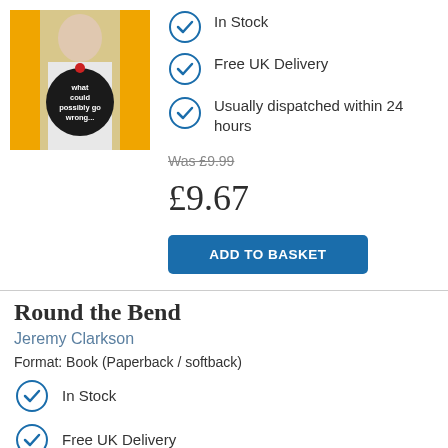[Figure (photo): Book cover with orange background, person in white coat holding a black circular badge with text 'what could possibly go wrong...']
In Stock
Free UK Delivery
Usually dispatched within 24 hours
Was £9.99
£9.67
ADD TO BASKET
Round the Bend
Jeremy Clarkson
Format: Book (Paperback / softback)
In Stock
Free UK Delivery